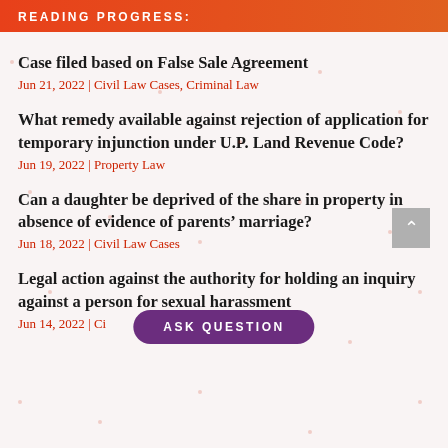READING PROGRESS:
Case filed based on False Sale Agreement
Jun 21, 2022 | Civil Law Cases, Criminal Law
What remedy available against rejection of application for temporary injunction under U.P. Land Revenue Code?
Jun 19, 2022 | Property Law
Can a daughter be deprived of the share in property in absence of evidence of parents’ marriage?
Jun 18, 2022 | Civil Law Cases
Legal action against the authority for holding an inquiry against a person for sexual harassment
Jun 14, 2022 | Civil ... Law